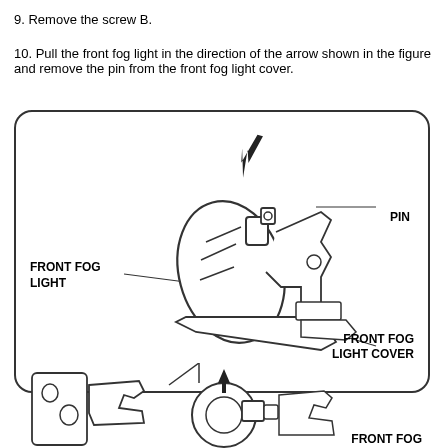9. Remove the screw B.
10. Pull the front fog light in the direction of the arrow shown in the figure and remove the pin from the front fog light cover.
[Figure (engineering-diagram): Engineering diagram showing a front fog light assembly being pulled in the direction of an arrow, with labels for PIN, FRONT FOG LIGHT, and FRONT FOG LIGHT COVER. A rounded rectangle frames the exploded/detail view.]
[Figure (engineering-diagram): Lower portion of engineering diagram showing the front fog light assembly in context, with a partial label reading FRONT FOG at bottom right.]